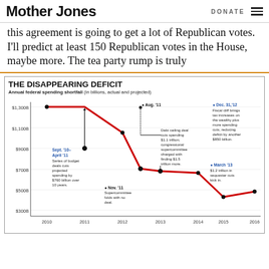Mother Jones | DONATE
this agreement is going to get a lot of Republican votes. I'll predict at least 150 Republican votes in the House, maybe more. The tea party rump is truly
[Figure (line-chart): THE DISAPPEARING DEFICIT]